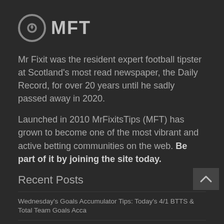[Figure (logo): MFT logo with circular icon and bold text 'MFT']
Mr Fixit was the resident expert football tipster at Scotland's most read newspaper, the Daily Record, for over 20 years until he sadly passed away in 2020.
Launched in 2010 MrFixitsTips (MFT) has grown to become one of the most vibrant and active betting communities on the web. Be part of it by joining the site today.
Recent Posts
Wednesday's Goals Accumulator Tips: Today's 4/1 BTTS & Total Team Goals Acca
Football Bet of the Day: Entertaining encounter in Zagreb on Wednesday
Golf Betting Tips: Tour Championship Preview & Predictions